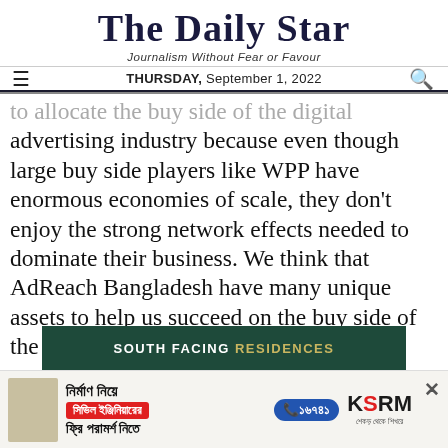The Daily Star
Journalism Without Fear or Favour
THURSDAY, September 1, 2022
advertising industry because even though large buy side players like WPP have enormous economies of scale, they don't enjoy the strong network effects needed to dominate their business. We think that AdReach Bangladesh have many unique assets to help us succeed on the buy side of the digital advertising business.
[Figure (photo): SOUTH FACING RESIDENCES advertisement banner (dark green background with white and gold text)]
[Figure (infographic): KSRM construction advertisement banner with Bengali text: নির্মাণ নিয়ে সিভিল ইঞ্জিনিয়ারের ফ্রি পরামর্শ নিতে, phone number ১৬৭৪১, KSRM logo]